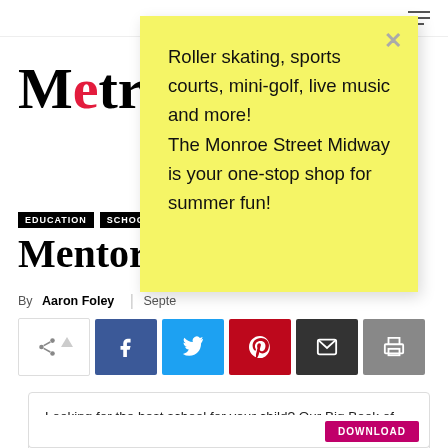Metro
EDUCATION   SCHOO
Mentorin
By Aaron Foley | Septe
[Figure (screenshot): Social share buttons: native share, Facebook, Twitter, Pinterest, Email, Print]
Looking for the best school for your child? Our Big Book of Schools is our free trustworthy guide packed with public, charter and private schools in southeast Michigan.
DOWNLOAD
[Figure (other): Yellow sticky note popup with handwritten text: Roller skating, sports courts, mini-golf, live music and more! The Monroe Street Midway is your one-stop shop for summer fun!]